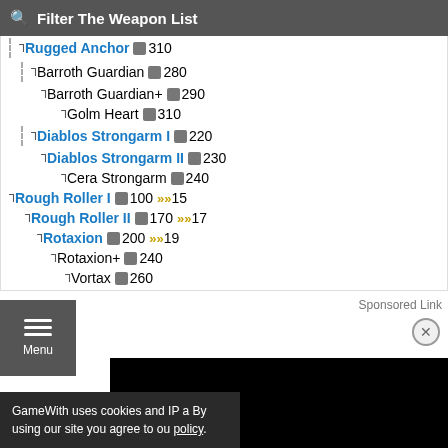Filter The Weapon List
Rugged Anchor 310
Barroth Guardian 280
Barroth Guardian+ 290
Golm Heart 310
Diablos Strongarm I 220
Diablos Strongarm II 230
Cera Strongarm 240
Rough Roller I 100 15
Rough Roller II 170 17
Rotaxion 200 19
Rotaxion+ 240
Vortax 260
Sponsored Link
GameWith uses cookies and IP a By using our site you agree to ou policy.